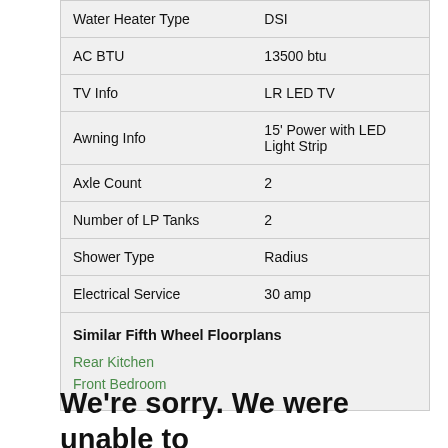| Feature | Value |
| --- | --- |
| Water Heater Type | DSI |
| AC BTU | 13500 btu |
| TV Info | LR LED TV |
| Awning Info | 15' Power with LED Light Strip |
| Axle Count | 2 |
| Number of LP Tanks | 2 |
| Shower Type | Radius |
| Electrical Service | 30 amp |
Similar Fifth Wheel Floorplans
Rear Kitchen
Front Bedroom
We're sorry. We were unable to find results for this